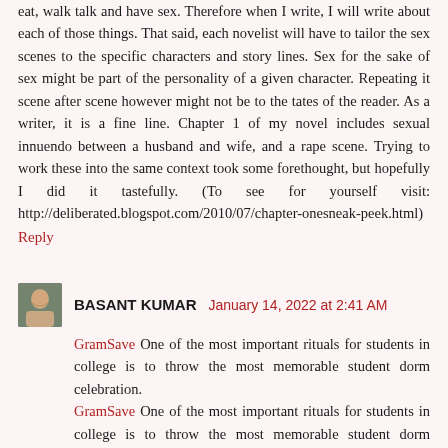eat, walk talk and have sex. Therefore when I write, I will write about each of those things. That said, each novelist will have to tailor the sex scenes to the specific characters and story lines. Sex for the sake of sex might be part of the personality of a given character. Repeating it scene after scene however might not be to the tates of the reader. As a writer, it is a fine line. Chapter 1 of my novel includes sexual innuendo between a husband and wife, and a rape scene. Trying to work these into the same context took some forethought, but hopefully I did it tastefully. (To see for yourself visit: http://deliberated.blogspot.com/2010/07/chapter-onesneak-peek.html)
Reply
BASANT KUMAR January 14, 2022 at 2:41 AM
GramSave One of the most important rituals for students in college is to throw the most memorable student dorm celebration. GramSave One of the most important rituals for students in college is to throw the most memorable student dorm celebration. GramSave here are many reasons why you might want to create an explicit video. It is possible to create an sexy dance or music video.